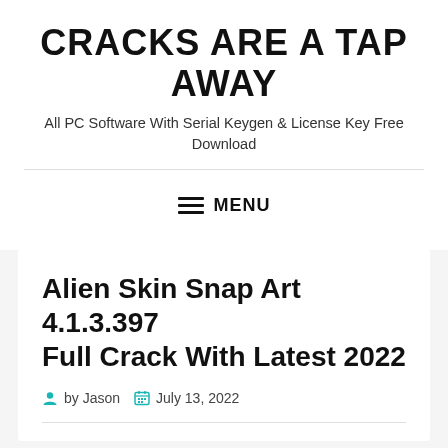CRACKS ARE A TAP AWAY
All PC Software With Serial Keygen & License Key Free Download
MENU
Alien Skin Snap Art 4.1.3.397 Full Crack With Latest 2022
by Jason   July 13, 2022